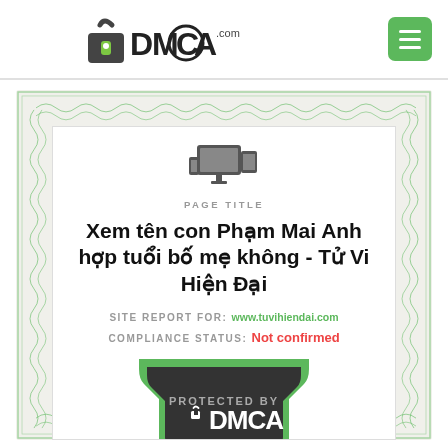DMCA.com
[Figure (logo): DMCA.com logo with lock icon and text DMCA .com]
PAGE TITLE
Xem tên con Phạm Mai Anh hợp tuổi bố mẹ không - Tử Vi Hiện Đại
SITE REPORT FOR: www.tuvihiendai.com
COMPLIANCE STATUS: Not confirmed
[Figure (logo): DMCA Protected By shield badge with lock icon and text PROTECTED BY DMCA PROTECTION SERVICES]